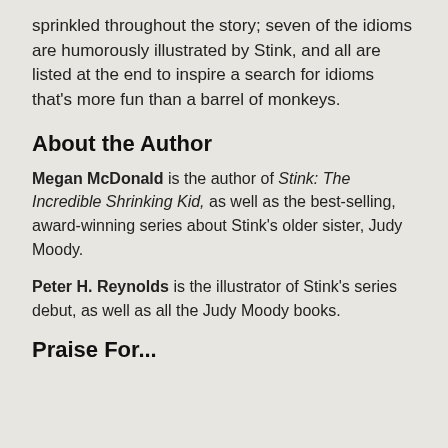sprinkled throughout the story; seven of the idioms are humorously illustrated by Stink, and all are listed at the end to inspire a search for idioms that's more fun than a barrel of monkeys.
About the Author
Megan McDonald is the author of Stink: The Incredible Shrinking Kid, as well as the best-selling, award-winning series about Stink's older sister, Judy Moody.
Peter H. Reynolds is the illustrator of Stink's series debut, as well as all the Judy Moody books.
Praise For...